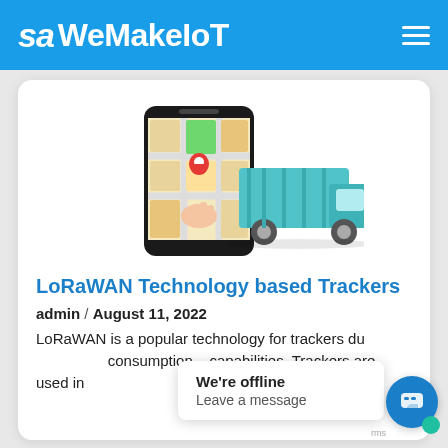sa WeMakeIoT
[Figure (illustration): Smartphone showing a map with a location pin and a hand pointing, overlaid with a teal delivery truck illustration]
LoRaWAN Technology based Trackers
admin / August 11, 2022
LoRaWAN is a popular technology for trackers due to its low power consumption and long range capabilities. Trackers are used in
We're offline
Leave a message